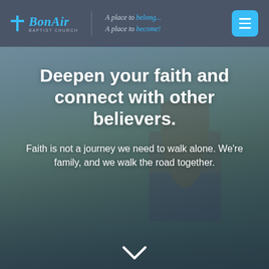[Figure (logo): BonAir Baptist Church logo with blue cross icon and italic text, tagline 'A place to belong... A place to become!']
[Figure (photo): Outdoor scene with a man holding a child, standing near water or beach, overcast sky in background. Text overlaid on image.]
Deepen your faith and connect with other believers.
Faith is not a journey we need to walk alone. We're family, and we walk the road together.